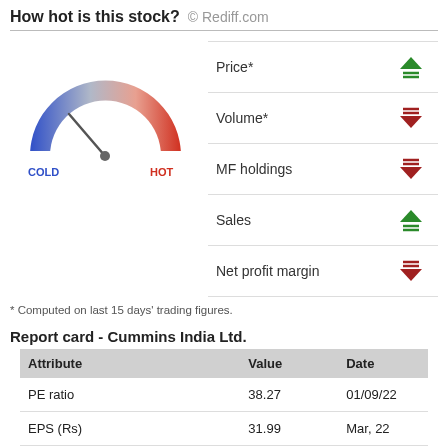How hot is this stock?  © Rediff.com
[Figure (other): Semicircular gauge/speedometer showing stock temperature from COLD (blue, left) to HOT (red, right), with needle pointing slightly left of center toward cold side.]
Price* ▲
Volume* ▼
MF holdings ▼
Sales ▲
Net profit margin ▼
* Computed on last 15 days' trading figures.
Report card - Cummins India Ltd.
| Attribute | Value | Date |
| --- | --- | --- |
| PE ratio | 38.27 | 01/09/22 |
| EPS (Rs) | 31.99 | Mar, 22 |
| Sales (Rs crore) | 1,686.65 | Jun, 22 |
| Face Value (Rs) | 2 |  |